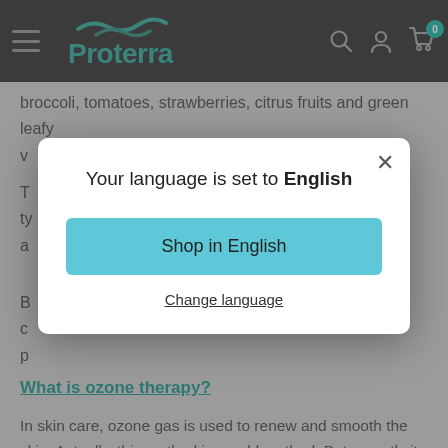Proterra — navigation bar with hamburger menu, logo, search, account, and cart icons
broccoli, tomatoes, strawberries, citrus fruits and green leafy v...
T... ty... a...
B... c... p...
What is ozone therapy?
In skin care, ozone gas is used to renew and smooth the skin. Actually, this method is an old method. But recently it has become more popular. It is used more today. It is especially effective in skin regeneration. Ozone therapy contributes to
Your language is set to English
Shop in English
Change language